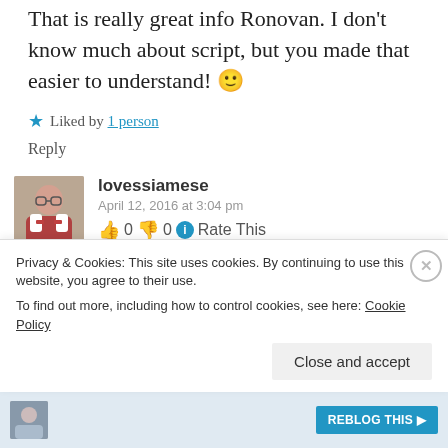That is really great info Ronovan. I don't know much about script, but you made that easier to understand! 🙂
★ Liked by 1 person
Reply
lovessiamese
April 12, 2016 at 3:04 pm
👍 0 👎 0 ℹ Rate This
Reblogged this on
Privacy & Cookies: This site uses cookies. By continuing to use this website, you agree to their use.
To find out more, including how to control cookies, see here: Cookie Policy
Close and accept